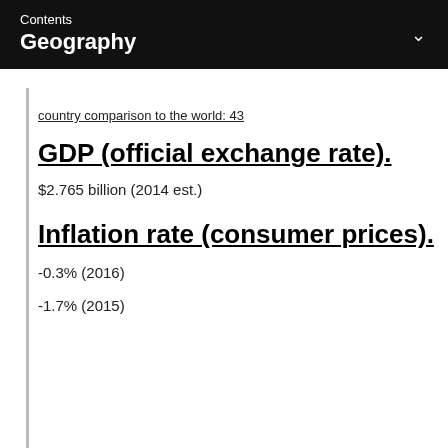Contents
Geography
country comparison to the world: 43
GDP (official exchange rate)
$2.765 billion (2014 est.)
Inflation rate (consumer prices)
-0.3% (2016)
-1.7% (2015)